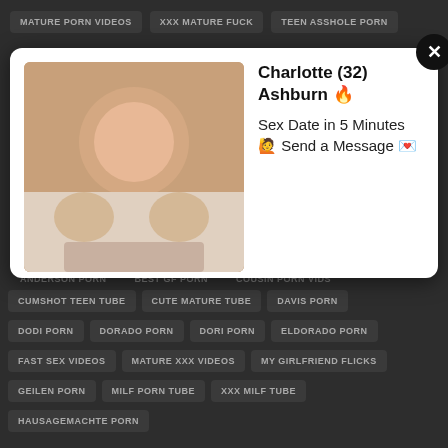MATURE PORN VIDEOS
XXX MATURE FUCK
TEEN ASSHOLE PORN
[Figure (screenshot): Ad overlay popup on adult website showing a person lying down with text: Charlotte (32) Ashburn 🔥 Sex Date in 5 Minutes 🙋 Send a Message 💌]
ANDERSON PORN
BEST GF PORN
COUSIN PORN VIDS
CUMSHOT TEEN TUBE
CUTE MATURE TUBE
DAVIS PORN
DODI PORN
DORADO PORN
DORI PORN
ELDORADO PORN
FAST SEX VIDEOS
MATURE XXX VIDEOS
MY GIRLFRIEND FLICKS
GEILEN PORN
MILF PORN TUBE
XXX MILF TUBE
HAUSAGEMACHTE PORN